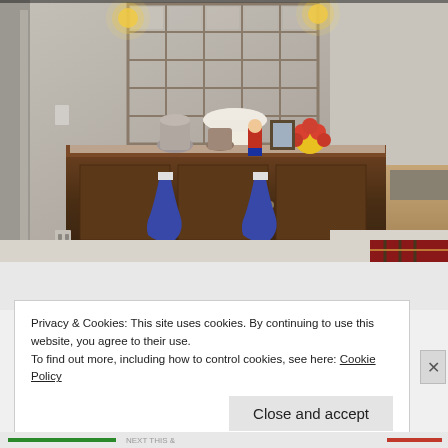[Figure (photo): Interior room photo showing a dark wood sideboard/buffet table against a beige/gray wall. On top of the sideboard are decorative items including lamps, vases, a framed photo, poinsettia flowers, and Christmas decorations. Behind the sideboard is a large grid-style mirror or window frame decoration. Christmas stockings hang from the front of the sideboard. The room has carpet and hardwood flooring visible on the right side.]
Privacy & Cookies: This site uses cookies. By continuing to use this website, you agree to their use.
To find out more, including how to control cookies, see here: Cookie Policy
Close and accept